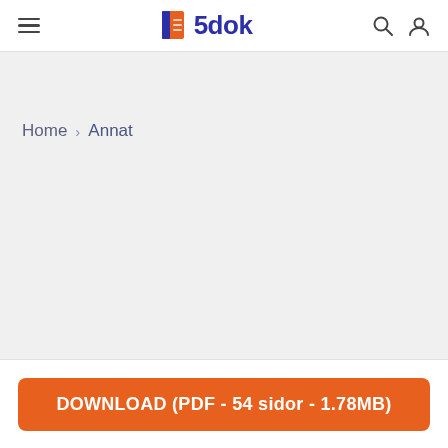5dok
Home > Annat
DOWNLOAD (PDF - 54 sidor - 1.78MB)